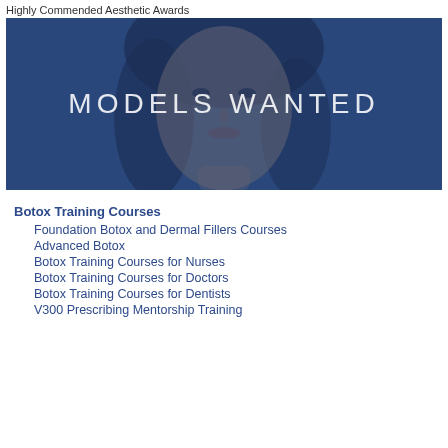Highly Commended Aesthetic Awards
[Figure (photo): Banner image showing a woman's face with blue overlay and text 'MODELS WANTED' in white letters]
Botox Training Courses
Foundation Botox and Dermal Fillers Courses
Advanced Botox
Botox Training Courses for Nurses
Botox Training Courses for Doctors
Botox Training Courses for Dentists
V300 Prescribing Mentorship Training